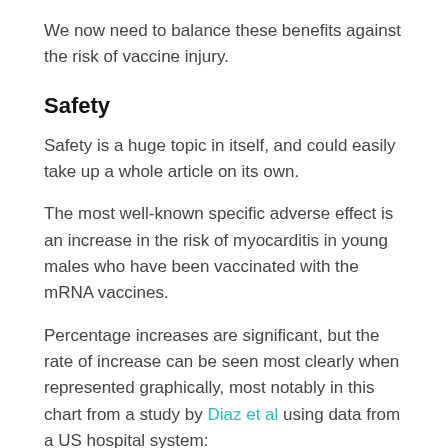We now need to balance these benefits against the risk of vaccine injury.
Safety
Safety is a huge topic in itself, and could easily take up a whole article on its own.
The most well-known specific adverse effect is an increase in the risk of myocarditis in young males who have been vaccinated with the mRNA vaccines.
Percentage increases are significant, but the rate of increase can be seen most clearly when represented graphically, most notably in this chart from a study by Diaz et al using data from a US hospital system: